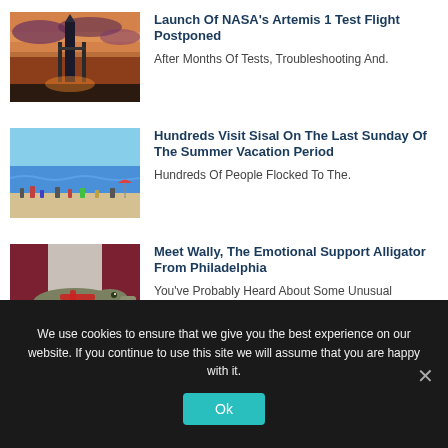[Figure (photo): NASA Artemis rocket on launch pad at sunset with colorful sky]
Launch Of NASA’s Artemis 1 Test Flight Postponed
After Months Of Tests, Troubleshooting And.
[Figure (photo): Crowded beach scene with people and blue water]
Hundreds Visit Sisal On The Last Sunday Of The Summer Vacation Period
Hundreds Of People Flocked To The.
[Figure (photo): Alligator with red harness on the ground]
Meet Wally, The Emotional Support Alligator From Philadelphia
You’ve Probably Heard About Some Unusual Emotional.
We use cookies to ensure that we give you the best experience on our website. If you continue to use this site we will assume that you are happy with it.